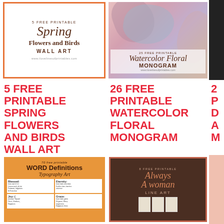[Figure (illustration): Spring Flowers and Birds Wall Art printable cover with orange border, script and serif text on white background]
[Figure (illustration): Watercolor Floral Monogram printable cover with pink/purple/gray watercolor shapes]
[Figure (illustration): Partial third column image, dark/black]
5 FREE PRINTABLE SPRING FLOWERS AND BIRDS WALL ART
26 FREE PRINTABLE WATERCOLOR FLORAL MONOGRAM
2...
[Figure (illustration): Word Definitions Typography Art printable cover on orange/mustard background with word definition cards]
[Figure (illustration): Always A Woman Line Art printable cover on dark brown background with coral border]
[Figure (illustration): Partial right column image]